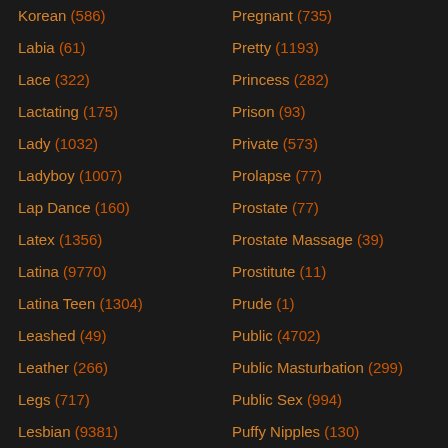Korean (586)
Labia (61)
Lace (322)
Lactating (175)
Lady (1032)
Ladyboy (1007)
Lap Dance (160)
Latex (1356)
Latina (9770)
Latina Teen (1304)
Leashed (49)
Leather (266)
Legs (717)
Lesbian (9381)
Lesbian Anal (1163)
Lesbian Ass Licking (850)
Pregnant (735)
Pretty (1193)
Princess (282)
Prison (93)
Private (573)
Prolapse (77)
Prostate (77)
Prostate Massage (39)
Prostitute (11)
Prude (1)
Public (4702)
Public Masturbation (299)
Public Sex (994)
Puffy Nipples (130)
Punishment (663)
Punk (116)